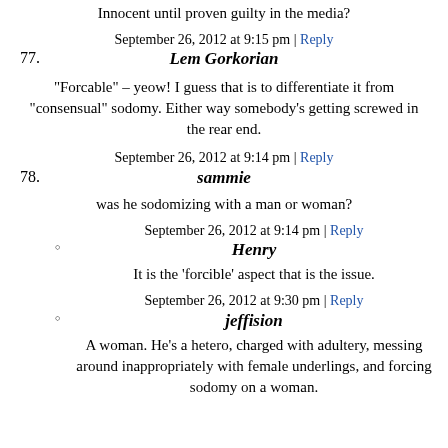Innocent until proven guilty in the media?
September 26, 2012 at 9:15 pm | Reply
77. Lem Gorkorian
"Forcable" – yeow! I guess that is to differentiate it from "consensual" sodomy. Either way somebody's getting screwed in the rear end.
September 26, 2012 at 9:14 pm | Reply
78. sammie
was he sodomizing with a man or woman?
September 26, 2012 at 9:14 pm | Reply
Henry
It is the 'forcible' aspect that is the issue.
September 26, 2012 at 9:30 pm | Reply
jeffision
A woman. He's a hetero, charged with adultery, messing around inappropriately with female underlings, and forcing sodomy on a woman.